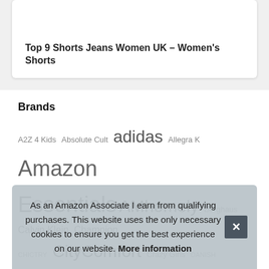Top 9 Shorts Jeans Women UK – Women's Shorts
Brands
A2Z 4 Kids Absolute Cult adidas Allegra K Amazon Essentials AMhomely Berghaus Calvin Klein Champion CHICTRY CityComfort Crazy Girls DANISH ENDURANCE Disney Fortnite Fruit of the Loom Generic GRACE KARIN Harry Potter HEAT HO... Sal... MyS... Ro...
As an Amazon Associate I earn from qualifying purchases. This website uses the only necessary cookies to ensure you get the best experience on our website. More information